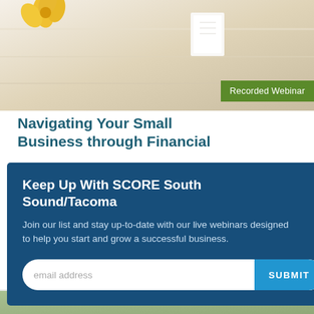[Figure (photo): Background photo of a desk or table surface with a yellow flower and white paper/book visible]
Recorded Webinar
Navigating Your Small Business through Financial
ess
hub >
Keep Up With SCORE South Sound/Tacoma
Join our list and stay up-to-date with our live webinars designed to help you start and grow a successful business.
email address
SUBMIT
View Webinar ▶